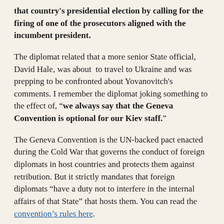that country's presidential election by calling for the firing of one of the prosecutors aligned with the incumbent president.
The diplomat related that a more senior State official, David Hale, was about to travel to Ukraine and was prepping to be confronted about Yovanovitch's comments. I remember the diplomat joking something to the effect of, "we always say that the Geneva Convention is optional for our Kiev staff."
The Geneva Convention is the UN-backed pact enacted during the Cold War that governs the conduct of foreign diplomats in host countries and protects them against retribution. But it strictly mandates that foreign diplomats "have a duty not to interfere in the internal affairs of that State" that hosts them. You can read the convention's rules here.